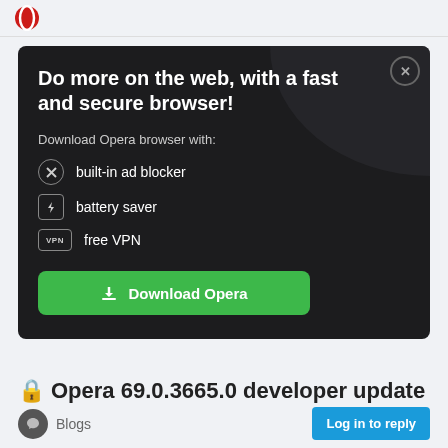Opera logo header
[Figure (screenshot): Opera browser advertisement banner with dark background. Shows title 'Do more on the web, with a fast and secure browser!', subtitle 'Download Opera browser with:', feature list with icons for built-in ad blocker, battery saver, free VPN, and a green Download Opera button.]
Opera 69.0.3665.0 developer update
Blogs
Log in to reply